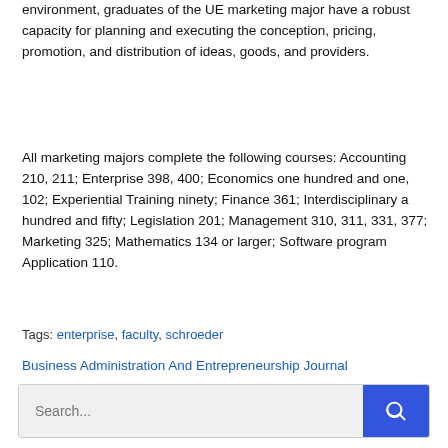environment, graduates of the UE marketing major have a robust capacity for planning and executing the conception, pricing, promotion, and distribution of ideas, goods, and providers.
All marketing majors complete the following courses: Accounting 210, 211; Enterprise 398, 400; Economics one hundred and one, 102; Experiential Training ninety; Finance 361; Interdisciplinary a hundred and fifty; Legislation 201; Management 310, 311, 331, 377; Marketing 325; Mathematics 134 or larger; Software program Application 110.
Tags: enterprise, faculty, schroeder
Business Administration And Entrepreneurship Journal
Enterprise Development Ideas For Massage Remedy Business